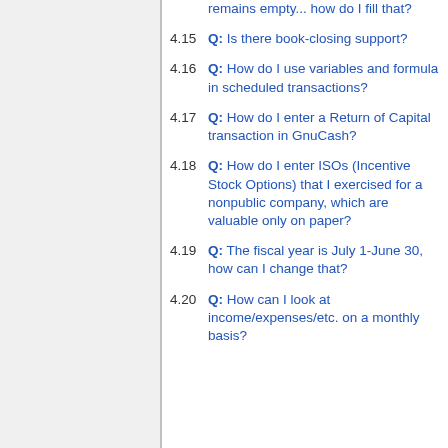remains empty... how do I fill that?
4.15 Q: Is there book-closing support?
4.16 Q: How do I use variables and formula in scheduled transactions?
4.17 Q: How do I enter a Return of Capital transaction in GnuCash?
4.18 Q: How do I enter ISOs (Incentive Stock Options) that I exercised for a nonpublic company, which are valuable only on paper?
4.19 Q: The fiscal year is July 1-June 30, how can I change that?
4.20 Q: How can I look at income/expenses/etc. on a monthly basis?